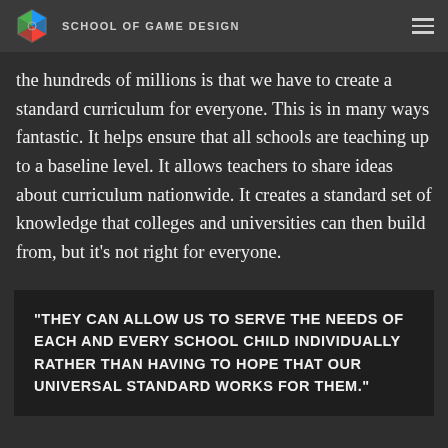SCHOOL OF GAME DESIGN
the hundreds of millions is that we have to create a standard curriculum for everyone. This is in many ways fantastic. It helps ensure that all schools are teaching up to a baseline level. It allows teachers to share ideas about curriculum nationwide. It creates a standard set of knowledge that colleges and universities can then build from, but it's not right for everyone.
“THEY CAN ALLOW US TO SERVE THE NEEDS OF EACH AND EVERY SCHOOL CHILD INDIVIDUALLY RATHER THAN HAVING TO HOPE THAT OUR UNIVERSAL STANDARD WORKS FOR THEM.”